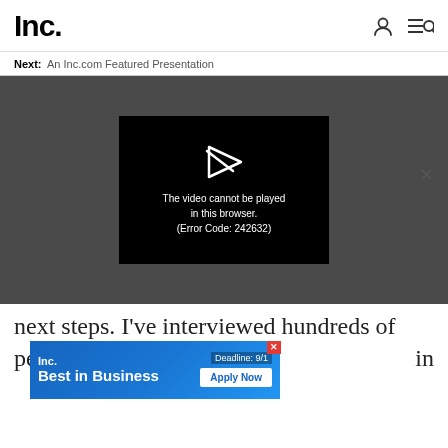Inc.
Next: An Inc.com Featured Presentation
[Figure (screenshot): Video player showing error message: 'The video cannot be played in this browser. (Error Code: 242632)' on dark background with play icon]
next steps. I've interviewed hundreds of
[Figure (screenshot): Inc. Best in Business advertisement banner with 'Deadline: 9/1' and 'Apply Now' button]
peop   in